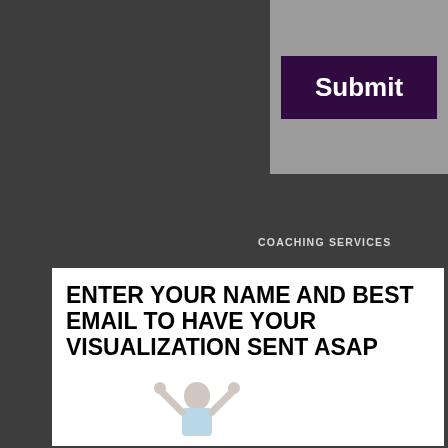[Figure (screenshot): Submit button in dark purple on grey background, top right corner]
COACHING SERVICES
Life Coaching
Career Coaching
Coaching Packages
[Figure (illustration): White panel with bold black text 'ENTER YOUR NAME AND BEST EMAIL TO HAVE YOUR VISUALIZATION SENT ASAP' and a figure of a person at the bottom]